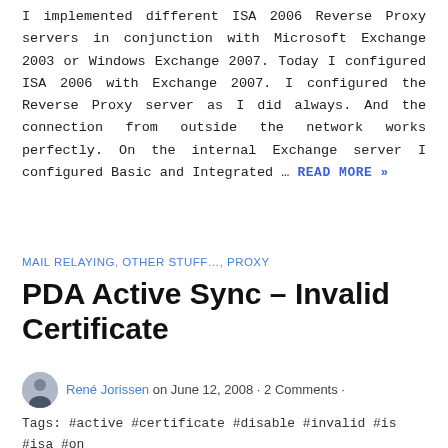I implemented different ISA 2006 Reverse Proxy servers in conjunction with Microsoft Exchange 2003 or Windows Exchange 2007. Today I configured ISA 2006 with Exchange 2007. I configured the Reverse Proxy server as I did always. And the connection from outside the network works perfectly. On the internal Exchange server I configured Basic and Integrated … READ MORE »
MAIL RELAYING, OTHER STUFF..., PROXY
PDA Active Sync – Invalid Certificate
René Jorissen on June 12, 2008 · 2 Comments ·
Tags: #active #certificate #disable #invalid #is #isa #on #pc #pda #pocket #proxy #reverse #server #ssl #sync #the